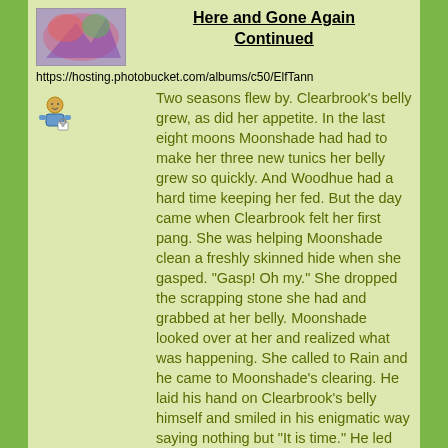[Figure (illustration): Colorful fantasy illustration thumbnail in top left corner]
Here and Gone Again Continued
https://hosting.photobucket.com/albums/c50/ElfTann
[Figure (illustration): Small user/person icon with a lock or badge]
Two seasons flew by. Clearbrook's belly grew, as did her appetite. In the last eight moons Moonshade had had to make her three new tunics her belly grew so quickly. And Woodhue had a hard time keeping her fed. But the day came when Clearbrook felt her first pang. She was helping Moonshade clean a freshly skinned hide when she gasped. "Gasp! Oh my." She dropped the scrapping stone she had and grabbed at her belly. Moonshade looked over at her and realized what was happening. She called to Rain and he came to Moonshade's clearing. He laid his hand on Clearbrook's belly himself and smiled in his enigmatic way saying nothing but "It is time." He led the way back to the Father tree. Moonshade helped her to lay in a mossy spot near the entrance